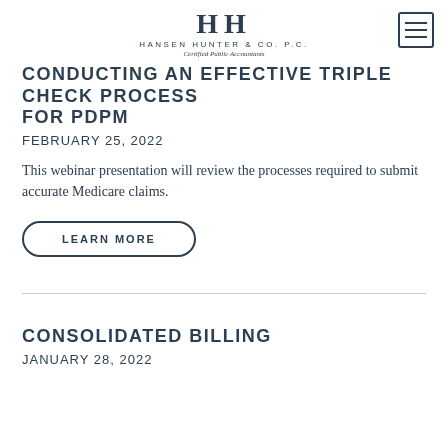HH HANSEN HUNTER & CO. P.C. Certified Public Accountants
CONDUCTING AN EFFECTIVE TRIPLE CHECK PROCESS FOR PDPM
FEBRUARY 25, 2022
This webinar presentation will review the processes required to submit accurate Medicare claims.
LEARN MORE
CONSOLIDATED BILLING
JANUARY 28, 2022